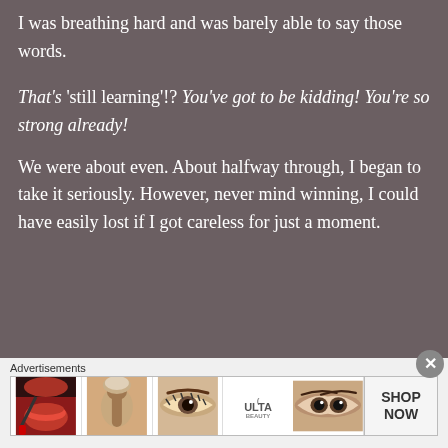I was breathing hard and was barely able to say those words.
That's 'still learning'!? You've got to be kidding! You're so strong already!
We were about even. About halfway through, I began to take it seriously. However, never mind winning, I could have easily lost if I got careless for just a moment.
[Figure (infographic): Advertisements banner with beauty/makeup themed images and ULTA logo and SHOP NOW button]